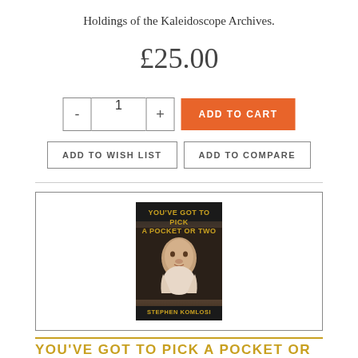Holdings of the Kaleidoscope Archives.
£25.00
- 1 + ADD TO CART
ADD TO WISH LIST  ADD TO COMPARE
[Figure (photo): Book cover for 'You've Got to Pick a Pocket or Two' by Stephen Komlosi, showing a young child against a dark background with gold title text]
YOU'VE GOT TO PICK A POCKET OR